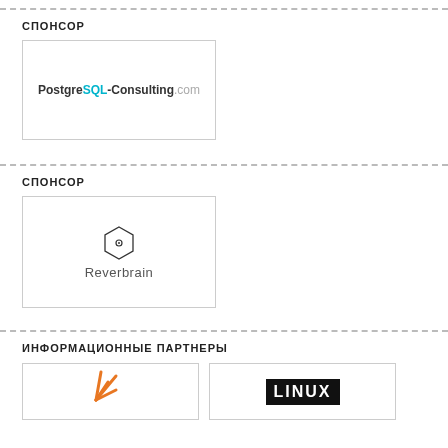СПОНСОР
[Figure (logo): PostgreSQL-Consulting.com logo]
СПОНСОР
[Figure (logo): Reverbrain logo with hexagon icon]
ИНФОРМАЦИОННЫЕ ПАРТНЕРЫ
[Figure (logo): Orange asterisk/star logo (partial)]
[Figure (logo): Linux tag logo in black and white (partial)]